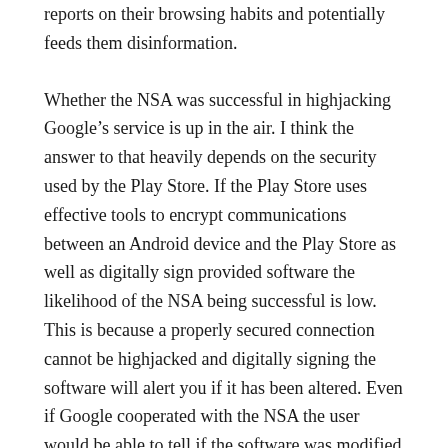reports on their browsing habits and potentially feeds them disinformation.
Whether the NSA was successful in highjacking Google’s service is up in the air. I think the answer to that heavily depends on the security used by the Play Store. If the Play Store uses effective tools to encrypt communications between an Android device and the Play Store as well as digitally sign provided software the likelihood of the NSA being successful is low. This is because a properly secured connection cannot be highjacked and digitally signing the software will alert you if it has been altered. Even if Google cooperated with the NSA the user would be able to tell if the software was modified so long as the developer signed it (that still leaves the possibility of the NSA enlisting the developer but then the problem isn’t the Play Store).